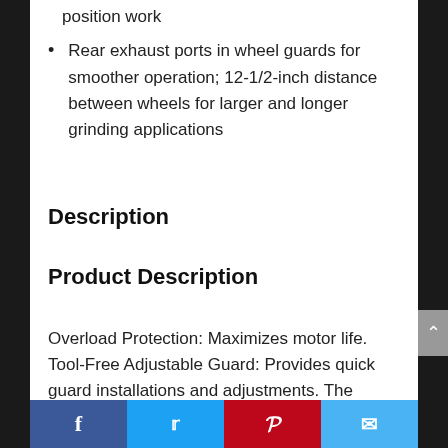position work
Rear exhaust ports in wheel guards for smoother operation; 12-1/2-inch distance between wheels for larger and longer grinding applications
Description
Product Description
Overload Protection: Maximizes motor life. Tool-Free Adjustable Guard: Provides quick guard installations and adjustments. The product is durable.